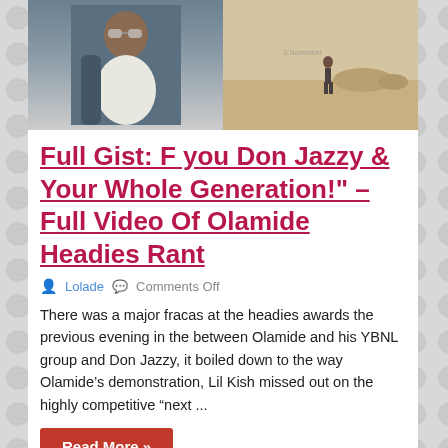[Figure (photo): Two photos side by side: left shows a man wearing sunglasses seated in a vehicle; right shows a person standing in a desert landscape.]
Full Gist: F you Don Jazzy & Your Whole Generation!" – Full Video Of Olamide Headies Rant
Lolade   Comments Off
There was a major fracas at the headies awards the previous evening in the between Olamide and his YBNL group and Don Jazzy, it boiled down to the way Olamide's demonstration, Lil Kish missed out on the  highly competitive "next ...
Read More »